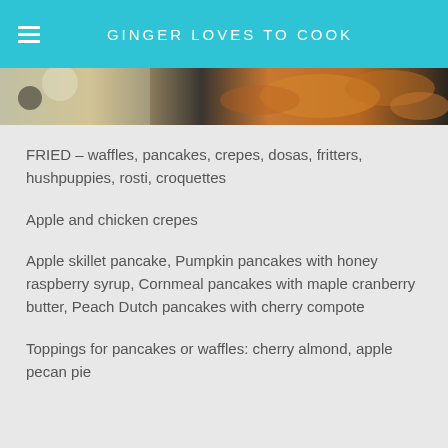GINGER LOVES TO COOK
[Figure (photo): Close-up photo of fried food items, including golden-brown battered pieces on a plate.]
FRIED – waffles, pancakes, crepes, dosas, fritters, hushpuppies, rosti, croquettes
Apple and chicken crepes
Apple skillet pancake, Pumpkin pancakes with honey raspberry syrup, Cornmeal pancakes with maple cranberry butter, Peach Dutch pancakes with cherry compote
Toppings for pancakes or waffles: cherry almond, apple pecan pie